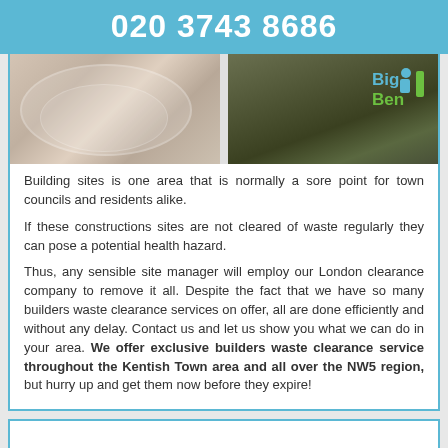020 3743 8686
[Figure (photo): Two photos side by side: left shows a patterned fabric/mattress surface, right shows a dark outdoor ground/soil scene with the Big Ben clearance company logo in top right corner]
Building sites is one area that is normally a sore point for town councils and residents alike.
If these constructions sites are not cleared of waste regularly they can pose a potential health hazard.
Thus, any sensible site manager will employ our London clearance company to remove it all. Despite the fact that we have so many builders waste clearance services on offer, all are done efficiently and without any delay. Contact us and let us show you what we can do in your area. We offer exclusive builders waste clearance service throughout the Kentish Town area and all over the NW5 region, but hurry up and get them now before they expire!